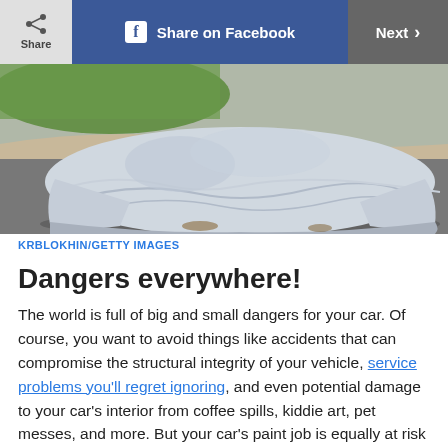Share  |  Share on Facebook  |  Next
[Figure (photo): A car covered with a silver protective cover, parked on a driveway near a curb with green grass visible in the background.]
KRBLOKHIN/GETTY IMAGES
Dangers everywhere!
The world is full of big and small dangers for your car. Of course, you want to avoid things like accidents that can compromise the structural integrity of your vehicle, service problems you'll regret ignoring, and even potential damage to your car's interior from coffee spills, kiddie art, pet messes, and more. But your car's paint job is equally at risk—from everyday things you likely